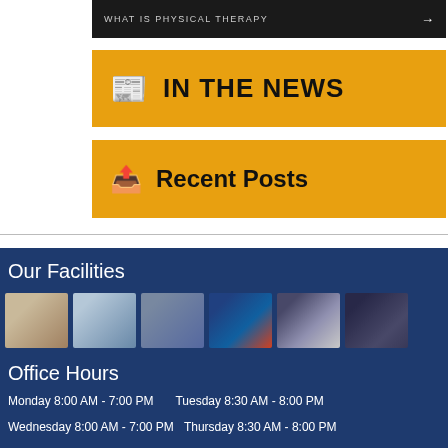[Figure (screenshot): Dark banner with text 'WHAT IS PHYSICAL THERAPY' and arrow]
[Figure (screenshot): Orange button with newspaper icon and text 'IN THE NEWS']
[Figure (screenshot): Orange button with document icon and text 'Recent Posts']
Our Facilities
[Figure (photo): Row of 6 facility photos showing clinic rooms and staff]
Office Hours
Monday 8:00 AM - 7:00 PM   Tuesday 8:30 AM - 8:00 PM
Wednesday 8:00 AM - 7:00 PM   Thursday 8:30 AM - 8:00 PM